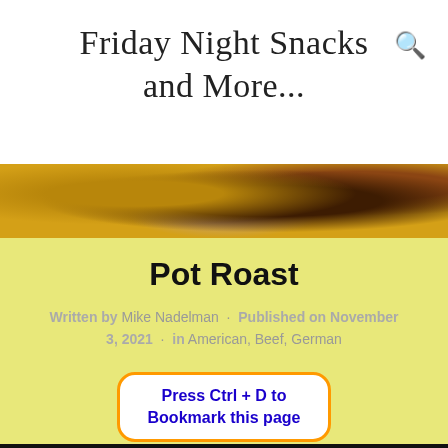Friday Night Snacks and More...
[Figure (photo): Close-up photograph of a pot roast dish, showing braised meat with brown gravy on a yellow/golden background]
Pot Roast
Written by Mike Nadelman · Published on November 3, 2021 · in American, Beef, German
Press Ctrl + D to Bookmark this page